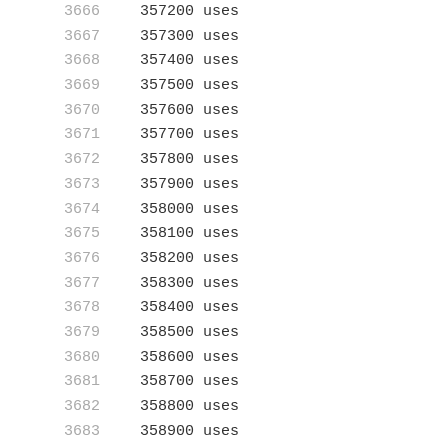| Index | Value | Unit |
| --- | --- | --- |
| 3666 | 357200 | uses |
| 3667 | 357300 | uses |
| 3668 | 357400 | uses |
| 3669 | 357500 | uses |
| 3670 | 357600 | uses |
| 3671 | 357700 | uses |
| 3672 | 357800 | uses |
| 3673 | 357900 | uses |
| 3674 | 358000 | uses |
| 3675 | 358100 | uses |
| 3676 | 358200 | uses |
| 3677 | 358300 | uses |
| 3678 | 358400 | uses |
| 3679 | 358500 | uses |
| 3680 | 358600 | uses |
| 3681 | 358700 | uses |
| 3682 | 358800 | uses |
| 3683 | 358900 | uses |
| 3684 | 359000 | uses |
| 3685 | 359100 | uses |
| 3686 | 359200 | uses |
| 3687 | 359300 | uses |